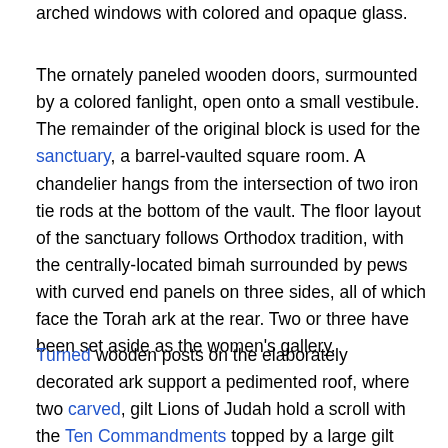arched windows with colored and opaque glass.
The ornately paneled wooden doors, surmounted by a colored fanlight, open onto a small vestibule. The remainder of the original block is used for the sanctuary, a barrel-vaulted square room. A chandelier hangs from the intersection of two iron tie rods at the bottom of the vault. The floor layout of the sanctuary follows Orthodox tradition, with the centrally-located bimah surrounded by pews with curved end panels on three sides, all of which face the Torah ark at the rear. Two or three have been set aside as the women's gallery.
Turned wooden posts on the elaborately decorated ark support a pedimented roof, where two carved, gilt Lions of Judah hold a scroll with the Ten Commandments topped by a large gilt crown. Both the ark platform and bimah are